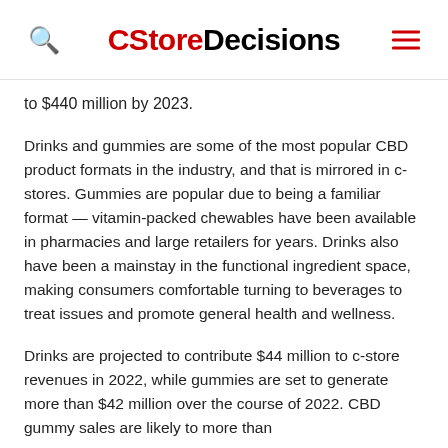CStoreDecisions
to $440 million by 2023.
Drinks and gummies are some of the most popular CBD product formats in the industry, and that is mirrored in c-stores. Gummies are popular due to being a familiar format — vitamin-packed chewables have been available in pharmacies and large retailers for years. Drinks also have been a mainstay in the functional ingredient space, making consumers comfortable turning to beverages to treat issues and promote general health and wellness.
Drinks are projected to contribute $44 million to c-store revenues in 2022, while gummies are set to generate more than $42 million over the course of 2022. CBD gummy sales are likely to more than